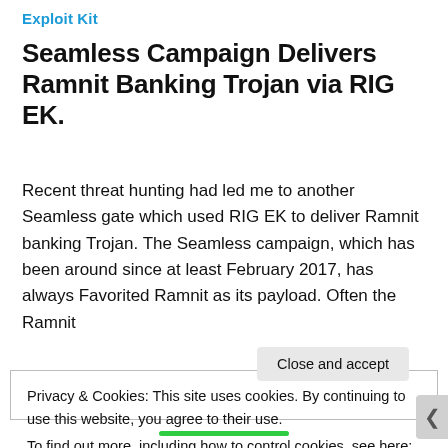Exploit Kit
Seamless Campaign Delivers Ramnit Banking Trojan via RIG EK.
Recent threat hunting had led me to another Seamless gate which used RIG EK to deliver Ramnit banking Trojan. The Seamless campaign, which has been around since at least February 2017, has always Favorited Ramnit as its payload. Often the Ramnit
Privacy & Cookies: This site uses cookies. By continuing to use this website, you agree to their use.
To find out more, including how to control cookies, see here: Cookie Policy